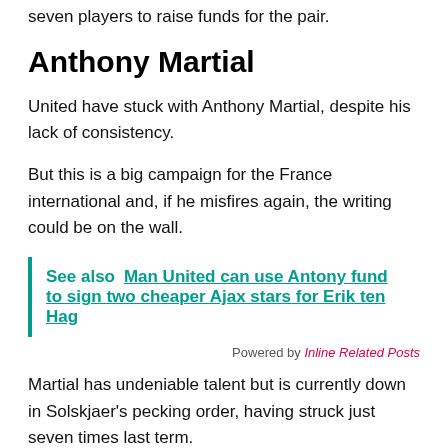seven players to raise funds for the pair.
Anthony Martial
United have stuck with Anthony Martial, despite his lack of consistency.
But this is a big campaign for the France international and, if he misfires again, the writing could be on the wall.
See also  Man United can use Antony fund to sign two cheaper Ajax stars for Erik ten Hag
Powered by Inline Related Posts
Martial has undeniable talent but is currently down in Solskjaer's pecking order, having struck just seven times last term.
And offloading him would definitely be one way to raise